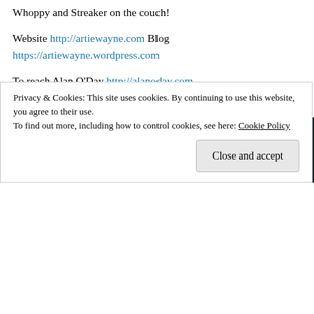Whoppy and Streaker on the couch!
Website http://artiewayne.com Blog https://artiewayne.wordpress.com
To reach Alan O'Day http://alanoday.com
Sebastian Prooth http://sebrt.com
[Figure (screenshot): Dark navy background with white bold text reading 'we all have them!' and a pink/crimson bar visible at the bottom, and a white circular shape at bottom right.]
Privacy & Cookies: This site uses cookies. By continuing to use this website, you agree to their use. To find out more, including how to control cookies, see here: Cookie Policy
Close and accept